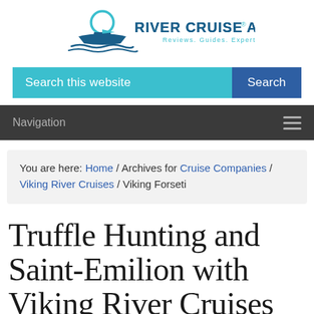[Figure (logo): River Cruise Advisor logo with ship/sun icon and tagline 'Reviews. Guides. Expert Advice.']
[Figure (screenshot): Search bar with cyan 'Search this website' input and dark blue 'Search' button]
Navigation
You are here: Home / Archives for Cruise Companies / Viking River Cruises / Viking Forseti
Truffle Hunting and Saint-Emilion with Viking River Cruises